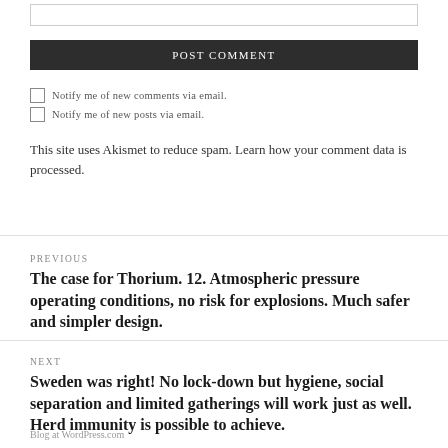[input box]
POST COMMENT
Notify me of new comments via email.
Notify me of new posts via email.
This site uses Akismet to reduce spam. Learn how your comment data is processed.
PREVIOUS
The case for Thorium. 12. Atmospheric pressure operating conditions, no risk for explosions. Much safer and simpler design.
NEXT
Sweden was right! No lock-down but hygiene, social separation and limited gatherings will work just as well. Herd immunity is possible to achieve.
Blog at WordPress.com